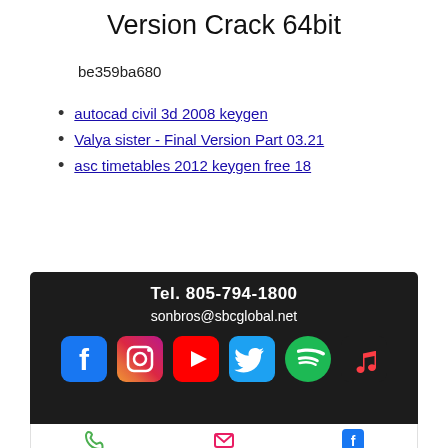Version Crack 64bit
be359ba680
autocad civil 3d 2008 keygen
Valya sister - Final Version Part 03.21
asc timetables 2012 keygen free 18
[Figure (infographic): Dark footer banner with contact info: Tel. 805-794-1800, sonbros@sbcglobal.net, and social media icons: Facebook, Instagram, YouTube, Twitter, Spotify, Apple Music. Below is a white strip with phone, email, and Facebook icons.]